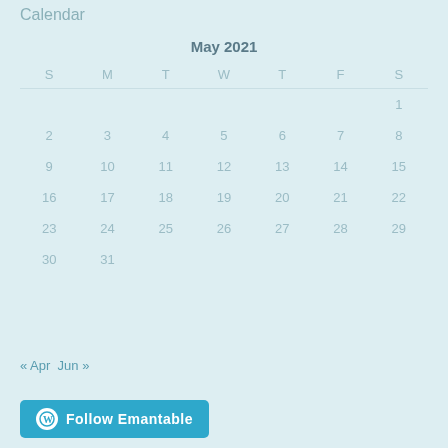Calendar
| S | M | T | W | T | F | S |
| --- | --- | --- | --- | --- | --- | --- |
|  |  |  |  |  |  | 1 |
| 2 | 3 | 4 | 5 | 6 | 7 | 8 |
| 9 | 10 | 11 | 12 | 13 | 14 | 15 |
| 16 | 17 | 18 | 19 | 20 | 21 | 22 |
| 23 | 24 | 25 | 26 | 27 | 28 | 29 |
| 30 | 31 |  |  |  |  |  |
« Apr   Jun »
Follow Emantable